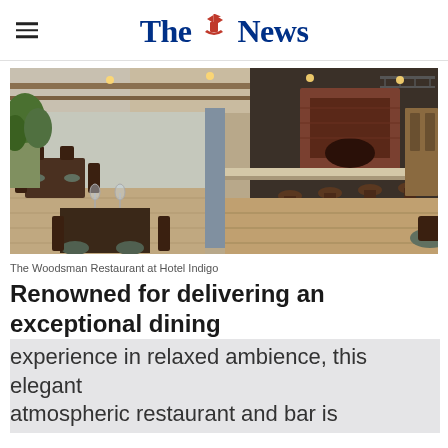The News
[Figure (photo): Interior of The Woodsman Restaurant at Hotel Indigo — wooden chairs, dark tables set for dining, brick fireplace/oven bar area, plants, warm lighting]
The Woodsman Restaurant at Hotel Indigo
Renowned for delivering an exceptional dining experience in relaxed ambience, this elegant atmospheric restaurant and bar is